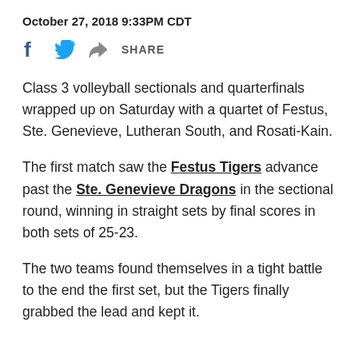October 27, 2018 9:33PM CDT
Class 3 volleyball sectionals and quarterfinals wrapped up on Saturday with a quartet of Festus, Ste. Genevieve, Lutheran South, and Rosati-Kain.
The first match saw the Festus Tigers advance past the Ste. Genevieve Dragons in the sectional round, winning in straight sets by final scores in both sets of 25-23.
The two teams found themselves in a tight battle to the end the first set, but the Tigers finally grabbed the lead and kept it.